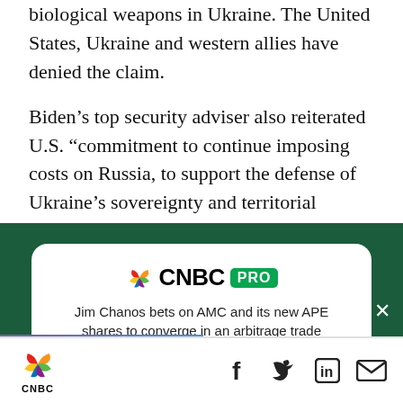biological weapons in Ukraine. The United States, Ukraine and western allies have denied the claim.
Biden's top security adviser also reiterated U.S. “commitment to continue imposing costs on Russia, to support the defense of Ukraine’s sovereignty and territorial integrity and to
[Figure (other): CNBC PRO advertisement card with headline: Jim Chanos bets on AMC and its new APE shares to converge in an arbitrage trade. Subscribe Now button. Dark green background with white rounded card.]
CNBC logo with social media icons: Facebook, Twitter, LinkedIn, Email